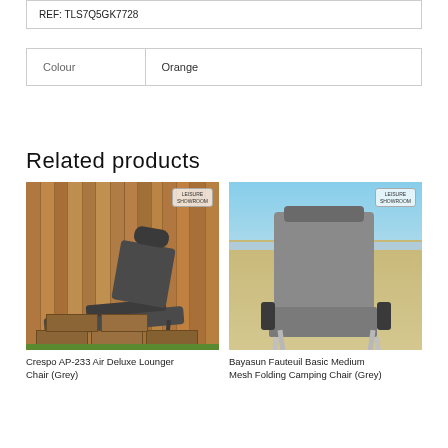REF: TLS7Q5GK7728
| Colour | Orange |
| --- | --- |
Related products
[Figure (photo): Crespo AP-233 Air Deluxe Lounger Chair in grey, shown reclined on wooden pallets against a wooden plank wall backdrop with Leisure Showroom watermark]
[Figure (photo): Bayasun Fauteuil Basic Medium Mesh Folding Camping Chair in grey, shown on sandy beach with Leisure Showroom watermark]
Crespo AP-233 Air Deluxe Lounger Chair (Grey)
Bayasun Fauteuil Basic Medium Mesh Folding Camping Chair (Grey)